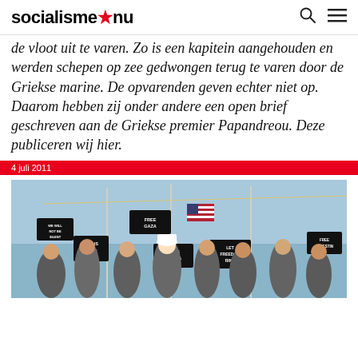socialisme.nu
de vloot uit te varen. Zo is een kapitein aangehouden en werden schepen op zee gedwongen terug te varen door de Griekse marine. De opvarenden geven echter niet op. Daarom hebben zij onder andere een open brief geschreven aan de Griekse premier Papandreou. Deze publiceren wij hier.
4 juli 2011
[Figure (photo): Crowd of activists on a boat holding signs reading FREE GAZA, THIS IS NEWS, BOATS TO GAZA, LET FREEDOM RING, FREE PALESTINE, WE WILL NOT BE SILENT, with American and other flags visible]